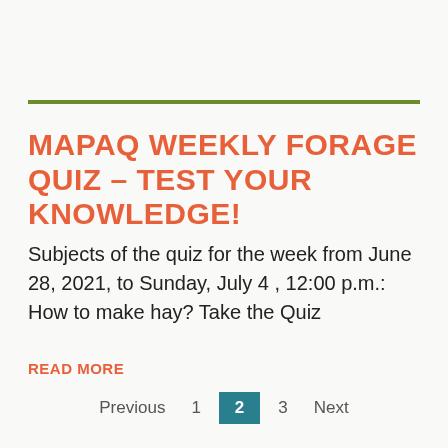MAPAQ WEEKLY FORAGE QUIZ – TEST YOUR KNOWLEDGE!
Subjects of the quiz for the week from June 28, 2021, to Sunday, July 4 , 12:00 p.m.: How to make hay? Take the Quiz
READ MORE
Previous  1  2  3  Next